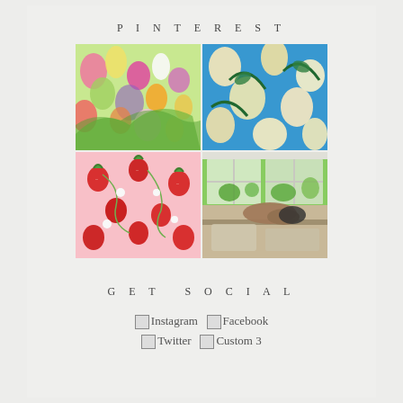PINTEREST
[Figure (photo): 2x2 grid of Pinterest images: top-left is a colorful flower garden painting, top-right is blue floral pattern, bottom-left is pink strawberry pattern, bottom-right shows a garden greenhouse view and a person working at a table]
GET SOCIAL
Instagram  Facebook  Twitter  Custom 3